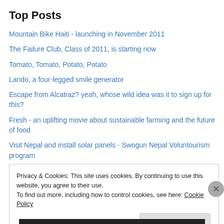Top Posts
Mountain Bike Haiti - launching in November 2011
The Failure Club, Class of 2011, is starting now
Tomato, Tomato, Potato, Potato
Lando, a four-legged smile generator
Escape from Alcatraz? yeah, whose wild idea was it to sign up for this?
Fresh - an uplifting movie about sustainable farming and the future of food
Visit Nepal and install solar panels - Swogun Nepal Voluntourism program
Privacy & Cookies: This site uses cookies. By continuing to use this website, you agree to their use.
To find out more, including how to control cookies, see here: Cookie Policy
Close and accept